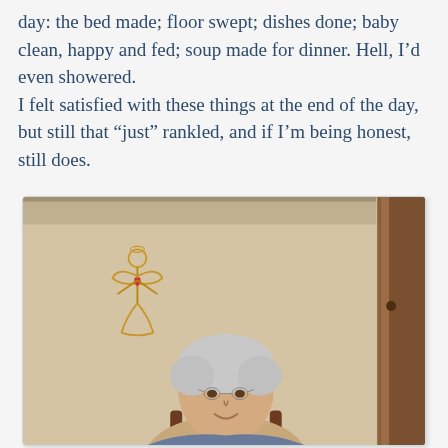day: the bed made; floor swept; dishes done; baby clean, happy and fed; soup made for dinner. Hell, I'd even showered. I felt satisfied with these things at the end of the day, but still that “just” rankled, and if I’m being honest, still does.
[Figure (photo): Photograph of an elderly woman with short white/grey hair sitting at a wooden chair. Behind her is a beige wall with a wire angel decoration hanging on it. To the right is a wooden door frame. The photo is framed with a light border and slight shadow.]